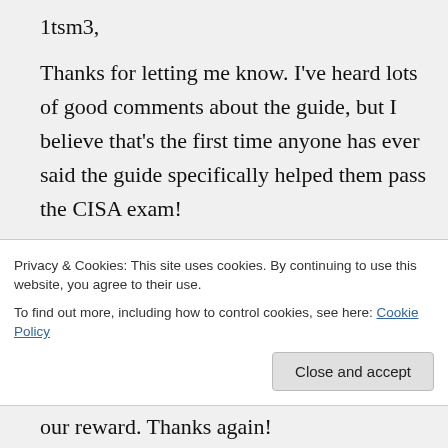1tsm3,
Thanks for letting me know. I've heard lots of good comments about the guide, but I believe that's the first time anyone has ever said the guide specifically helped them pass the CISA exam!
I'll keep on blogging, but it's much harder work and takes a lot more time than most people realize. I've been doing this blog since March 2009. I haven't run out of
Privacy & Cookies: This site uses cookies. By continuing to use this website, you agree to their use.
To find out more, including how to control cookies, see here: Cookie Policy
our reward. Thanks again!